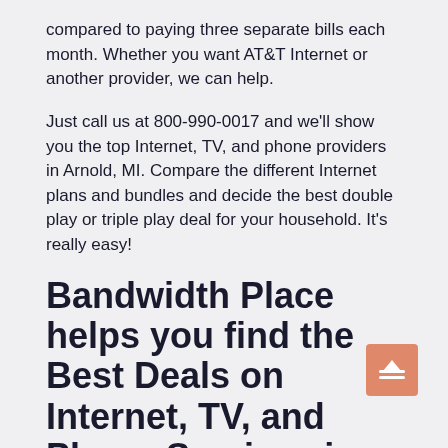compared to paying three separate bills each month. Whether you want AT&T Internet or another provider, we can help.
Just call us at 800-990-0017 and we'll show you the top Internet, TV, and phone providers in Arnold, MI. Compare the different Internet plans and bundles and decide the best double play or triple play deal for your household. It's really easy!
Bandwidth Place helps you find the Best Deals on Internet, TV, and Phone Services in Arnold
Bandwidth Place wants to be your one-stop shop when it comes to Internet, Digital TV, and Phone. Searching for the